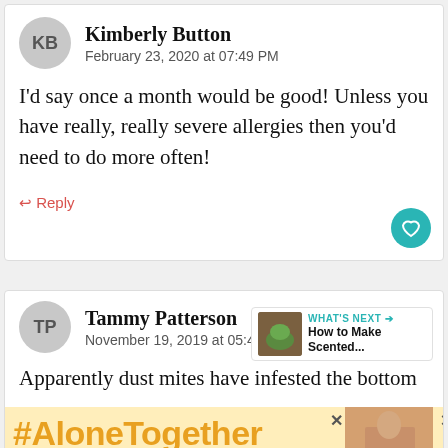Kimberly Button
February 23, 2020 at 07:49 PM
I'd say once a month would be good! Unless you have really, really severe allergies then you'd need to do more often!
Reply
Tammy Patterson
November 19, 2019 at 05:47 PM
WHAT'S NEXT → How to Make Scented...
Apparently dust mites have infested the bottom
#AloneTogether